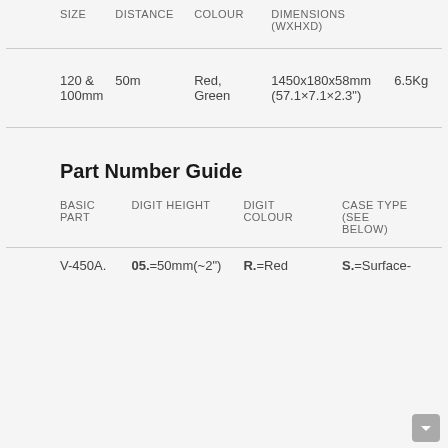| SIZE | DISTANCE | COLOUR | DIMENSIONS (WXHXD) |  |
| --- | --- | --- | --- | --- |
| 120 &
100mm | 50m | Red,
Green | 1450x180x58mm
(57.1×7.1×2.3") | 6.5Kg |
Part Number Guide
| BASIC PART | DIGIT HEIGHT | DIGIT COLOUR | CASE TYPE (SEE BELOW) |
| --- | --- | --- | --- |
| V-450A. | 05.=50mm(~2") | R.=Red | S.=Surface- |